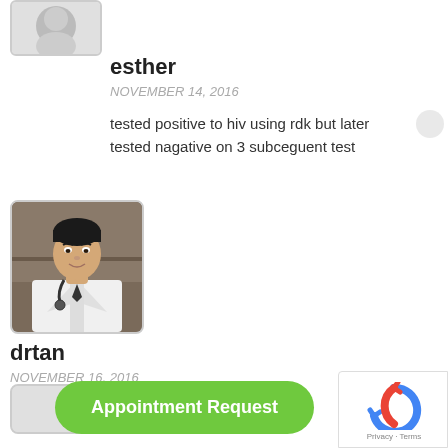[Figure (photo): Avatar of user esther - partial gray placeholder at top]
esther
NOVEMBER 14, 2016
tested positive to hiv using rdk but later tested nagative on 3 subceguent test
[Figure (photo): Photo of drtan - Asian male doctor in white coat with stethoscope]
drtan
NOVEMBER 16, 2016
See your doctor to get tested properly.
Appointment Request
[Figure (logo): Google reCAPTCHA widget with Privacy and Terms links]